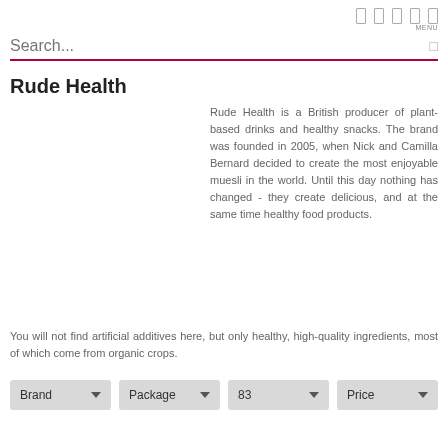MENU
Search...
Rude Health
Rude Health is a British producer of plant-based drinks and healthy snacks. The brand was founded in 2005, when Nick and Camilla Bernard decided to create the most enjoyable muesli in the world. Until this day nothing has changed - they create delicious, and at the same time healthy food products. You will not find artificial additives here, but only healthy, high-quality ingredients, most of which come from organic crops.
| Brand | Package | 83 | Price |
| --- | --- | --- | --- |